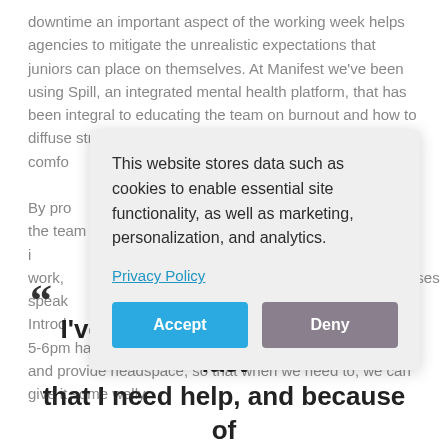downtime an important aspect of the working week helps agencies to mitigate the unrealistic expectations that juniors can place on themselves. At Manifest we've been using Spill, an integrated mental health platform, that has been integral to educating the team on burnout and how to diffuse stress and anxiety. Everyone they're el comfo By pro s, the team i t work, alises speak Introd nd 5-6pm has really helped to reduce feelings of overwhelm and provide headspace, so that when we need to, we can give it some welly.
This website stores data such as cookies to enable essential site functionality, as well as marketing, personalization, and analytics.
Privacy Policy
Accept
Deny
“I've been honest about the fact that I need help, and because of